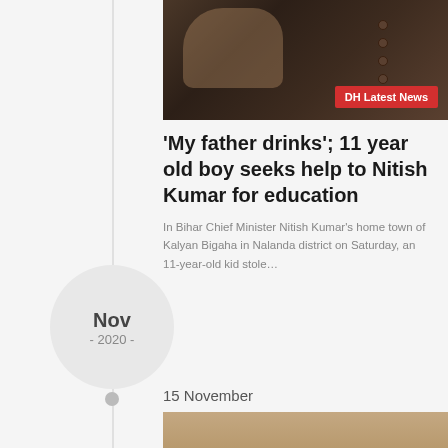[Figure (photo): Top photo showing a person in dark jacket with hand raised, with DH Latest News badge]
'My father drinks'; 11 year old boy seeks help to Nitish Kumar for education
In Bihar Chief Minister Nitish Kumar's home town of Kalyan Bigaha in Nalanda district on Saturday, an 11-year-old kid stole…
Nov
- 2020 -
15 November
[Figure (photo): Bottom photo showing two elderly men smiling together with a third person in background wearing sunglasses, likely Narendra Modi and Nitish Kumar]